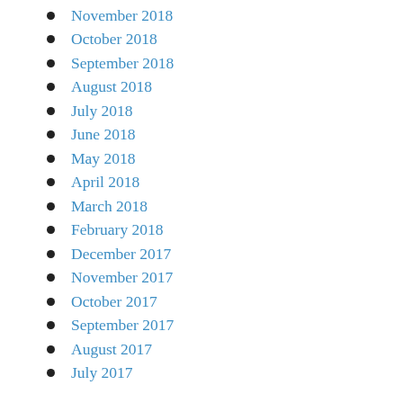November 2018
October 2018
September 2018
August 2018
July 2018
June 2018
May 2018
April 2018
March 2018
February 2018
December 2017
November 2017
October 2017
September 2017
August 2017
July 2017